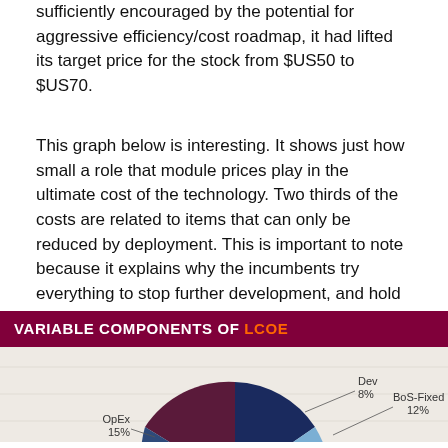sufficiently encouraged by the potential for aggressive efficiency/cost roadmap, it had lifted its target price for the stock from $US50 to $US70.
This graph below is interesting. It shows just how small a role that module prices play in the ultimate cost of the technology. Two thirds of the costs are related to items that can only be reduced by deployment. This is important to note because it explains why the incumbents try everything to stop further development, and hold on to the nonsense sprouted by the likes of fossil fuel pin-up boy Bjorn Lomborg that R&D is the only solution to cost reductions.
[Figure (pie-chart): Pie chart showing variable components of LCOE for 2016. Visible slices: Dev 8%, BoS-Fixed 12%, OpEx 15%. Year label 2016 shown to the right.]